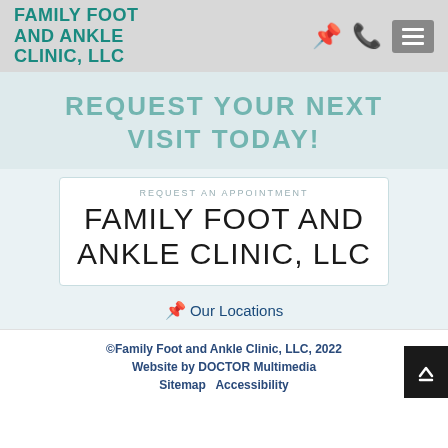FAMILY FOOT AND ANKLE CLINIC, LLC
REQUEST YOUR NEXT VISIT TODAY!
REQUEST AN APPOINTMENT
FAMILY FOOT AND ANKLE CLINIC, LLC
Our Locations
©Family Foot and Ankle Clinic, LLC, 2022
Website by DOCTOR Multimedia
Sitemap   Accessibility